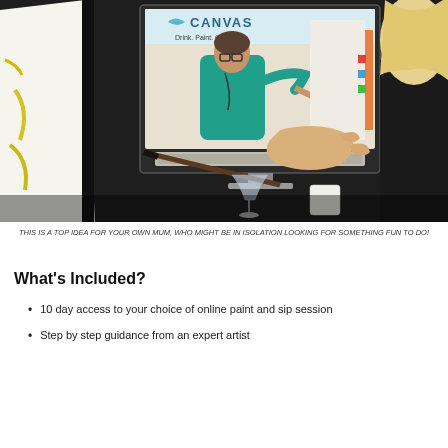[Figure (photo): A person painting on a canvas at home while watching an online paint and sip tutorial on an iMac computer. The screen shows an instructor in a teal shirt painting at an easel, with a 'Canvas - Drink. Paint. Create.' logo visible. The person's hand is visible holding a paintbrush near a white canvas with yellow paint strokes.]
THIS IS A TOP IDEA FOR YOUR OWN MUM, WHO MIGHT BE IN ISOLATION LOOKING FOR SOMETHING FUN TO DO!
What's Included?
10 day access to your choice of online paint and sip session
Step by step guidance from an expert artist